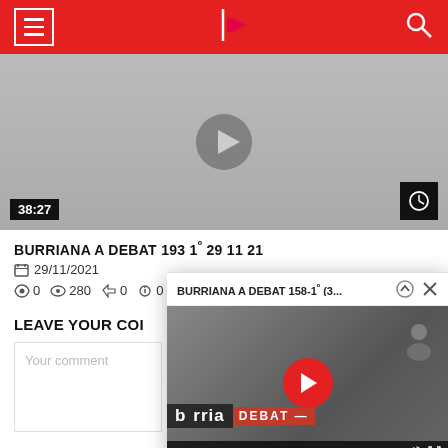Navigation header with hamburger menu, logo, and search icon
[Figure (screenshot): Video thumbnail with gray background, duration badge 38:27, and clock icon]
BURRIANA A DEBAT 193 1º 29 11 21
29/11/2021
0 comments  280 views  0 likes  0 dislikes
LEAVE YOUR COI
Your comment
[Figure (screenshot): Floating mini video player showing BURRIANA A DEBAT 158-1º (3... with a person speaking, play button, and controls showing -36:42]